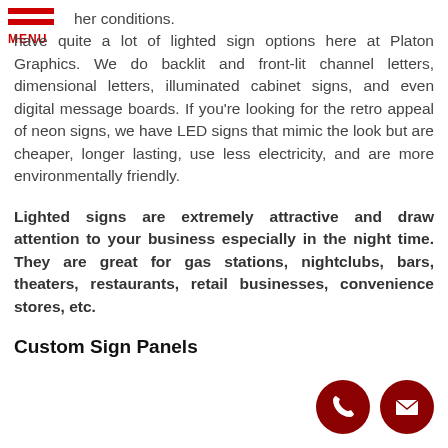[Figure (other): Red hamburger menu icon with three horizontal red bars and MENU text label below]
her conditions. have quite a lot of lighted sign options here at Platon Graphics. We do backlit and front-lit channel letters, dimensional letters, illuminated cabinet signs, and even digital message boards. If you're looking for the retro appeal of neon signs, we have LED signs that mimic the look but are cheaper, longer lasting, use less electricity, and are more environmentally friendly.
Lighted signs are extremely attractive and draw attention to your business especially in the night time. They are great for gas stations, nightclubs, bars, theaters, restaurants, retail businesses, convenience stores, etc.
Custom Sign Panels
[Figure (other): Two circular dark red icons: a phone/handset icon and an envelope/mail icon]